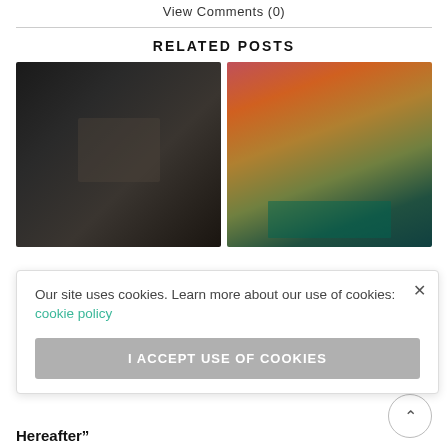View Comments (0)
RELATED POSTS
[Figure (photo): Dark blurred photo, left related post thumbnail]
[Figure (photo): Colorful blurred photo with red, yellow, green tones, right related post thumbnail]
ead Books
Our site uses cookies. Learn more about our use of cookies: cookie policy
I ACCEPT USE OF COOKIES
Hereafter"